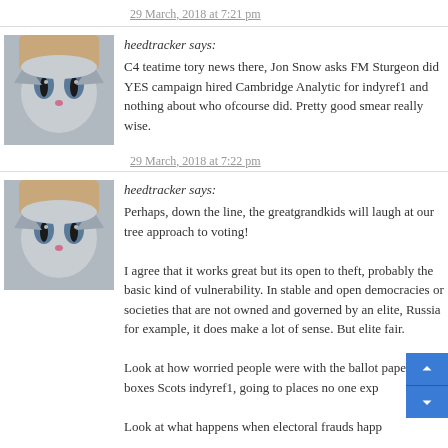29 March, 2018 at 7:21 pm
heedtracker says: C4 teatime tory news there, Jon Snow asks FM Sturgeon did YES campaign hired Cambridge Analytic for indyref1 and nothing about who ofcourse did. Pretty good smear really wise.
29 March, 2018 at 7:22 pm
heedtracker says: Perhaps, down the line, the greatgrandkids will laugh at our tree approach to voting! I agree that it works great but its open to theft, probably the basic kind of vulnerability. In stable and open democracies or societies that are not owned and governed by an elite, Russia for example, it does make a lot of sense. But elite fair. Look at how worried people were with the ballot papers and boxes Scots indyref1, going to places no one exp... Look at what happens when electoral frauds happ...